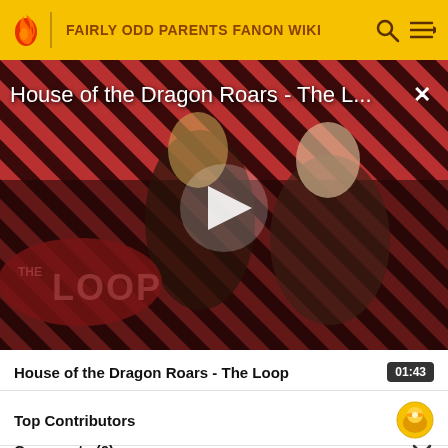FAIRLY ODD PARENTS FANON WIKI
[Figure (screenshot): Video thumbnail for 'House of the Dragon Roars - The Loop' showing two characters against a diagonal red and dark stripe background, with a white play button in the center and The Loop watermark at lower left]
House of the Dragon Roars - The Loop — 01:43
Top Contributors
Comments (0)